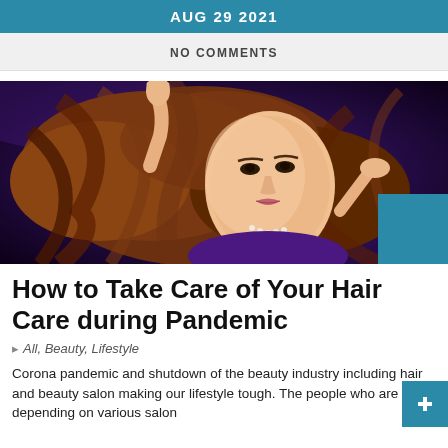AUG 29 2021
NO COMMENTS
[Figure (photo): A young woman with long wavy auburn/red hair lying on a purple fabric background, wearing a pearl necklace and purple top, looking up at camera with one hand raised near her hair]
How to Take Care of Your Hair Care during Pandemic
All, Beauty, Lifestyle
Corona pandemic and shutdown of the beauty industry including hair and beauty salon making our lifestyle tough. The people who are depending on various salon